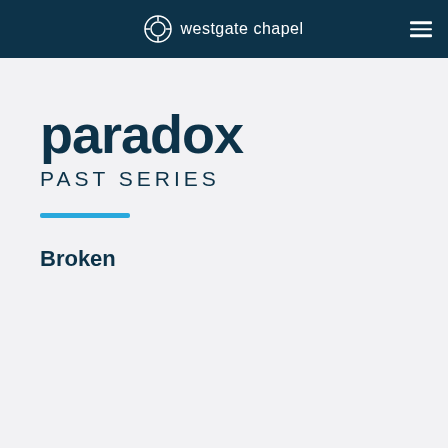westgate chapel
paradox
PAST SERIES
Broken